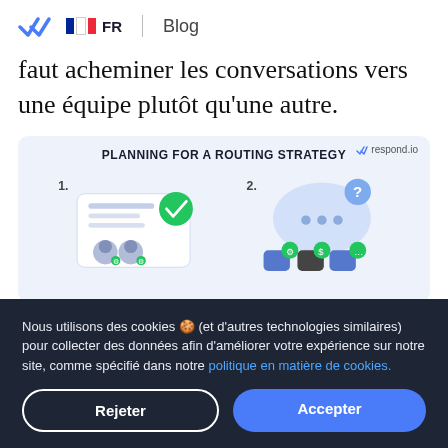FR | Blog
faut acheminer les conversations vers une équipe plutôt qu'une autre.
[Figure (infographic): Infographic titled 'PLANNING FOR A ROUTING STRATEGY' with two numbered sections showing routing concepts. Section 1 shows a document with a green checkmark and two user avatars. Section 2 shows a speech bubble with a question mark and colored icons below.]
Nous utilisons des cookies 🍪 (et d'autres technologies similaires) pour collecter des données afin d'améliorer votre expérience sur notre site, comme spécifié dans notre politique en matière de cookies.